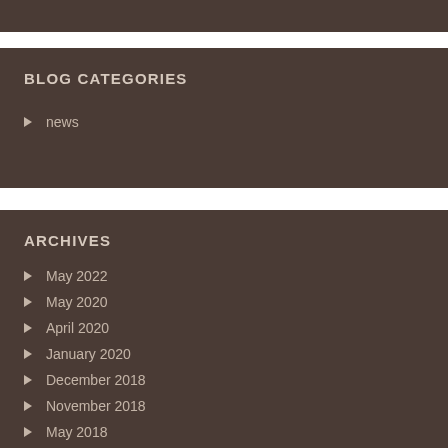BLOG CATEGORIES
news
ARCHIVES
May 2022
May 2020
April 2020
January 2020
December 2018
November 2018
May 2018